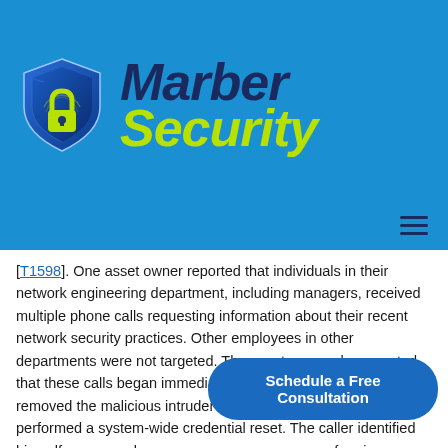[Figure (logo): Marber Security logo with blue shield containing a yellow-green padlock/fingerprint icon, and bold italic text 'Marber' in dark navy and 'Security' in yellow-green]
[T1598]. One asset owner reported that individuals in their network engineering department, including managers, received multiple phone calls requesting information about their recent network security practices. Other employees in other departments were not targeted. The asset owner also reported that these calls began immediately after they had identified and removed the malicious intruder from their network and performed a system-wide credential reset. The caller identified himself as an employee performing a national su practices. He inquired about the organization's policy and
Schedule a Free Consultation